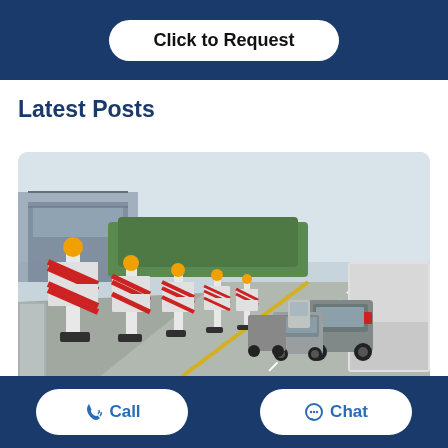[Figure (screenshot): Dark blue banner with a white rounded rectangle button labeled 'Click to Request']
Latest Posts
[Figure (photo): Road construction zone with red and white chevron barriers with orange lights on top, cars queued on the right lane, trees in the background, large truck on the right]
[Figure (screenshot): Dark blue bottom navigation bar with two white rounded pill buttons: 'Call' with phone icon and 'Chat' with speech bubble icon, both in blue text]